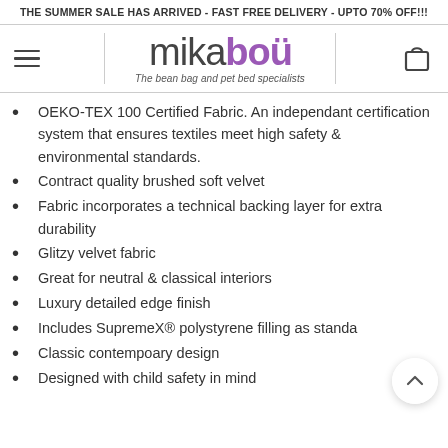THE SUMMER SALE HAS ARRIVED - FAST FREE DELIVERY - UPTO 70% OFF!!!
[Figure (logo): Mikabou logo with text 'mika' in grey and 'bou' with umlaut in purple, subtitle: The bean bag and pet bed specialists]
OEKO-TEX 100 Certified Fabric. An independant certification system that ensures textiles meet high safety & environmental standards.
Contract quality brushed soft velvet
Fabric incorporates a technical backing layer for extra durability
Glitzy velvet fabric
Great for neutral & classical interiors
Luxury detailed edge finish
Includes SupremeX® polystyrene filling as standa
Classic contempoary design
Designed with child safety in mind